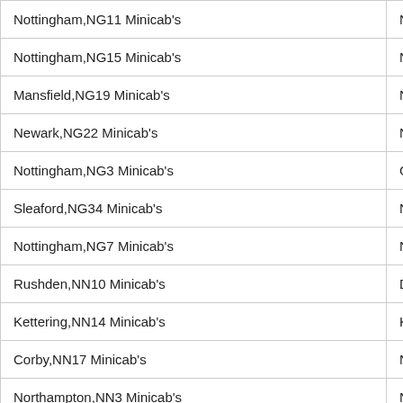| Nottingham,NG11 Minicab's | Nottingham,NG12 Minicab's |
| Nottingham,NG15 Minicab's | Nottingham,NG16 Minicab's |
| Mansfield,NG19 Minicab's | Nottingham,NG2 Minicab's |
| Newark,NG22 Minicab's | Newark,NG23 Minicab's |
| Nottingham,NG3 Minicab's | Grantham,NG31 Minicab's |
| Sleaford,NG34 Minicab's | Nottingham,NG4 Minicab's |
| Nottingham,NG7 Minicab's | Nottingham,NG8 Minicab's |
| Rushden,NN10 Minicab's | Daventry,NN11 Minicab's |
| Kettering,NN14 Minicab's | Kettering,NN15 Minicab's |
| Corby,NN17 Minicab's | Northampton,NN2 Minicab's |
| Northampton,NN3 Minicab's | Northampton,NN5 Minicab's |
| Wellingborough,NN8 Minicab's | Wellingborough,NN9 Minicab's |
| Blackwood,NP12 Minicab's | Abertillery,NP13 Minicab's |